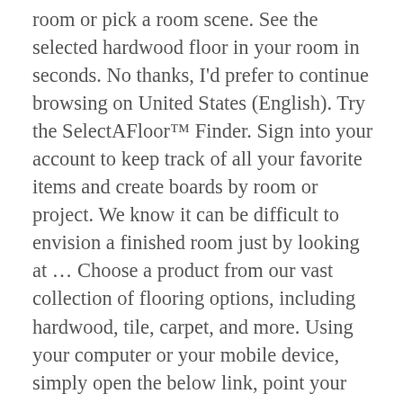room or pick a room scene. See the selected hardwood floor in your room in seconds. No thanks, I'd prefer to continue browsing on United States (English). Try the SelectAFloor™ Finder. Sign into your account to keep track of all your favorite items and create boards by room or project. We know it can be difficult to envision a finished room just by looking at … Choose a product from our vast collection of flooring options, including hardwood, tile, carpet, and more. Using your computer or your mobile device, simply open the below link, point your camera, take a picture and watch your room transform. From the soft luxurious patterned carpets to the distinctive wide plank hardwoods, our floors support your family's every move. Don't guess what will look best – use our new tool. Are you upgrading your home? Flooring can change the look, feel and function of a room, bringing together a beautiful, yet subtle